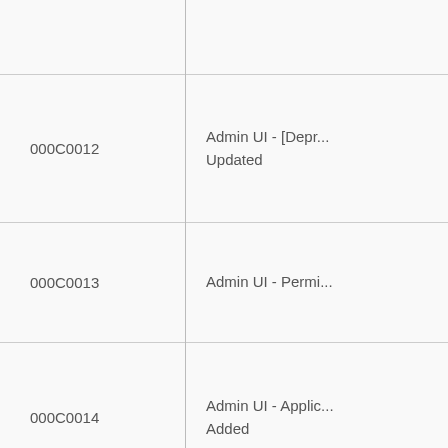| ID | Description |
| --- | --- |
|  |  |
| 000C0012 | Admin UI - [Depr...
Updated |
| 000C0013 | Admin UI - Permi... |
| 000C0014 | Admin UI - Applic...
Added |